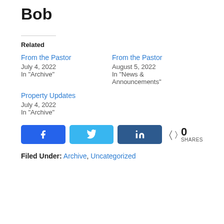Bob
Related
From the Pastor
July 4, 2022
In "Archive"
From the Pastor
August 5, 2022
In "News & Announcements"
Property Updates
July 4, 2022
In "Archive"
[Figure (infographic): Social share buttons: Facebook, Twitter, LinkedIn, and a share count showing 0 SHARES]
Filed Under: Archive, Uncategorized